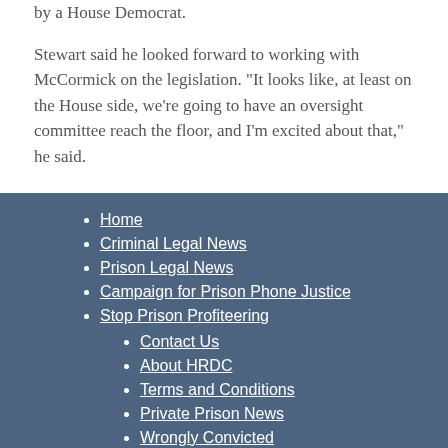by a House Democrat.
Stewart said he looked forward to working with McCormick on the legislation. "It looks like, at least on the House side, we're going to have an oversight committee reach the floor, and I'm excited about that," he said.
Home
Criminal Legal News
Prison Legal News
Campaign for Prison Phone Justice
Stop Prison Profiteering
Contact Us
About HRDC
Terms and Conditions
Private Prison News
Wrongly Convicted
Subscribe to PLN